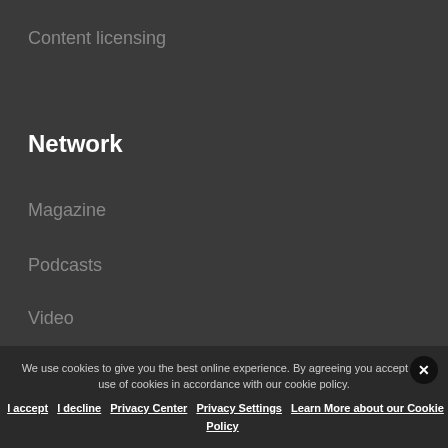Content licensing
Network
Magazine
Podcasts
Video
Radio
We use cookies to give you the best online experience. By agreeing you accept the use of cookies in accordance with our cookie policy.
I accept  I decline  Privacy Center  Privacy Settings  Learn More about our Cookie Policy